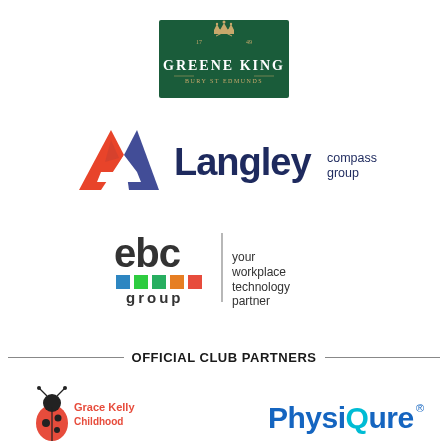[Figure (logo): Greene King logo - dark green rectangle with crown and crossed golf clubs, text 'GREENE KING' and 'BURY ST EDMUNDS']
[Figure (logo): Langley Compass Group logo - orange/red triangular A shape followed by dark navy 'Langley' text and smaller 'compass group' text]
[Figure (logo): ebc group logo - 'ebc' text in dark with colored squares (blue, green, green, orange, orange) below and 'group' text, with vertical bar separator and 'your workplace technology partner' text]
OFFICIAL CLUB PARTNERS
[Figure (logo): Grace Kelly Childhood Cancer Trust logo - ladybird graphic with 'Grace Kelly Childhood' text]
[Figure (logo): PhysiQure logo - blue bold text 'PhysiQure' with registered trademark symbol]